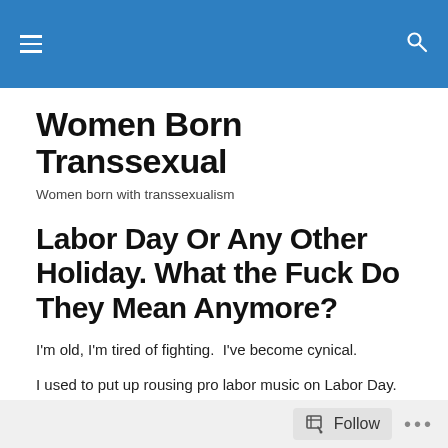Women Born Transsexual
Women Born Transsexual
Women born with transsexualism
Labor Day Or Any Other Holiday. What the Fuck Do They Mean Anymore?
I'm old, I'm tired of fighting.  I've become cynical.
I used to put up rousing pro labor music on Labor Day.
Follow